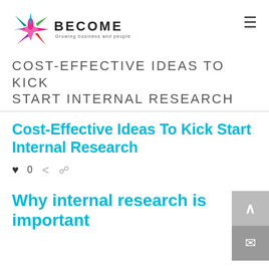BECOME — Growing business and people
COST-EFFECTIVE IDEAS TO KICK START INTERNAL RESEARCH
Cost-Effective Ideas To Kick Start Internal Research
♥ 0 share print
Why internal research is important